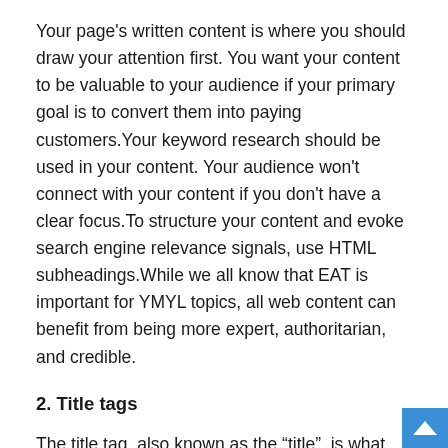Your page's written content is where you should draw your attention first. You want your content to be valuable to your audience if your primary goal is to convert them into paying customers.Your keyword research should be used in your content. Your audience won't connect with your content if you don't have a clear focus.To structure your content and evoke search engine relevance signals, use HTML subheadings.While we all know that EAT is important for YMYL topics, all web content can benefit from being more expert, authoritarian, and credible.
2. Title tags
The title tag, also known as the “title”, is what search engines use to determine the content of your page. Google has confirmed that the title tag should be focused on the keyword your page is targeted.Your title tag should contain the phrase